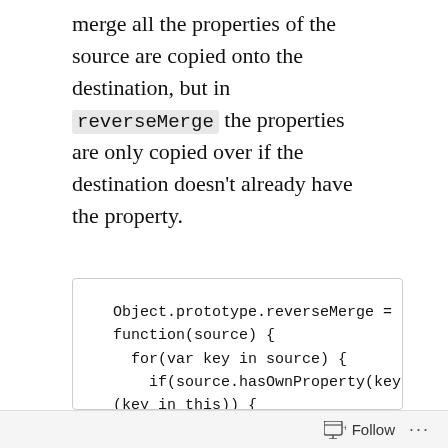merge all the properties of the source are copied onto the destination, but in reverseMerge the properties are only copied over if the destination doesn't already have the property.
Object.prototype.reverseMerge = function(source) {
  for(var key in source) {
    if(source.hasOwnProperty(key) && !
(key in this)) {
        this[key] = source[key];
    }
  }

  return this:
Follow